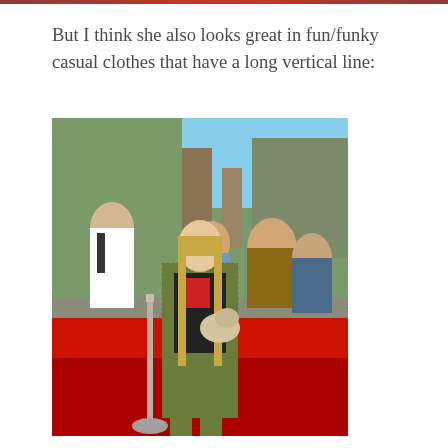But I think she also looks great in fun/funky casual clothes that have a long vertical line:
[Figure (photo): A young woman with long blonde hair wearing a green/olive patterned long coat and matching pants, standing on a red carpet event. She is holding a stuffed animal toy. Other people and event barriers are visible in the background.]